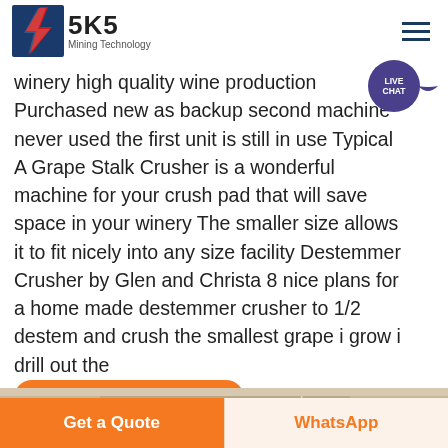[Figure (logo): SKS Mining Technology logo with red/blue lightning bolt graphic and text 'SKS Mining Technology']
winery high quality wine production Purchased new as backup second machine never used the first unit is still in use Typical A Grape Stalk Crusher is a wonderful machine for your crush pad that will save space in your winery The smaller size allows it to fit nicely into any size facility Destemmer Crusher by Glen and Christa 8 nice plans for a home made destemmer crusher to 1/2 destem and crush the smallest grape i grow i drill out the
[Figure (photo): Partial outdoor landscape photo showing rocky/hilly terrain]
Contact Now
Get a Quote
WhatsApp